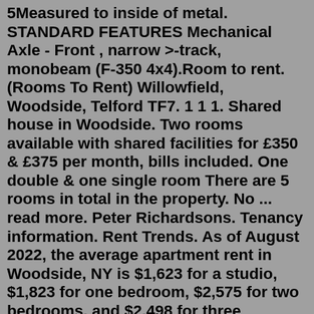5Measured to inside of metal. STANDARD FEATURES Mechanical Axle - Front , narrow >-track, monobeam (F-350 4x4).Room to rent. (Rooms To Rent) Willowfield, Woodside, Telford TF7. 1 1 1. Shared house in Woodside. Two rooms available with shared facilities for £350 & £375 per month, bills included. One double & one single room There are 5 rooms in total in the property. No ... read more. Peter Richardsons. Tenancy information. Rent Trends. As of August 2022, the average apartment rent in Woodside, NY is $1,623 for a studio, $1,823 for one bedroom, $2,575 for two bedrooms, and $2,498 for three bedrooms. Apartment rent in Woodside has increased by 1.4% in the past year. Beds. Avg. Sq. Ft.5 bedroom house in Wantage, Woodside, Telford. Telford, Shropshire. Readymade and Income Producing 5 Bedroom HMO Wantage, Woodside, Telford, TF7 5PB Purchase Price = £127,500 Finder¢--s Fee = £3,000 + Vat Potential Gross Income = £1,770 pcm = £21,240 per annum CASHFLOW AFTER ALL THE ABOVE COSTS. Seller type.Wealdstone.